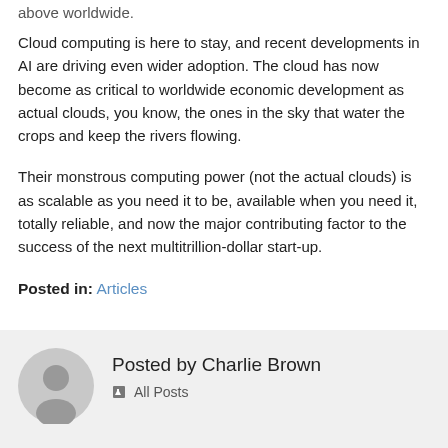above worldwide.
Cloud computing is here to stay, and recent developments in AI are driving even wider adoption. The cloud has now become as critical to worldwide economic development as actual clouds, you know, the ones in the sky that water the crops and keep the rivers flowing.
Their monstrous computing power (not the actual clouds) is as scalable as you need it to be, available when you need it, totally reliable, and now the major contributing factor to the success of the next multitrillion-dollar start-up.
Posted in: Articles
Posted by Charlie Brown
All Posts